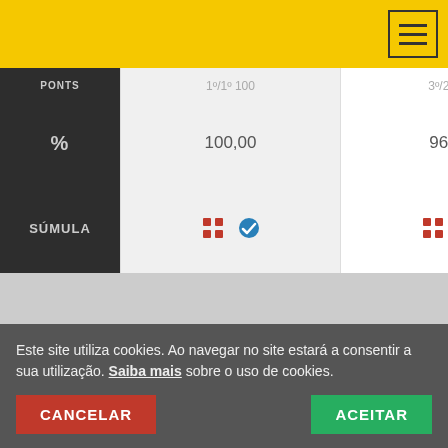|  | 1 | 2 | 3 |
| --- | --- | --- | --- |
| % | 100,00 | 96,89 | 92,69 |
| SÚMULA | grid+check | grid+check | grid+check |
HANDGUN - SENIOR - SUPER SÊNIOR
| CL | 1 | 2 | 3 |
| --- | --- | --- | --- |
| MAT | 33 | 173 | 223 |
Este site utiliza cookies. Ao navegar no site estará a consentir a sua utilização. Saiba mais sobre o uso de cookies.
CANCELAR  ACEITAR